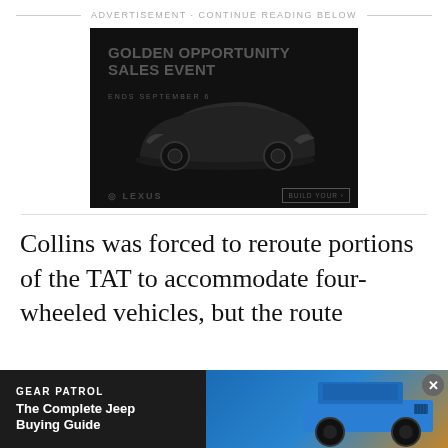ADVERTISEMENT · CONTINUE READING BELOW
[Figure (photo): Dark Lexus advertisement showing a white sports car with text 'GOLDEN OPPORTUNITY SALES EVENT ENDS SEPTEMBER 6' and a BUILD YOUR button, Lexus logo visible]
Collins was forced to reroute portions of the TAT to accommodate four-wheeled vehicles, but the route
[Figure (photo): Bottom banner advertisement for Gear Patrol 'The Complete Jeep Buying Guide' showing a blue Jeep Wrangler]